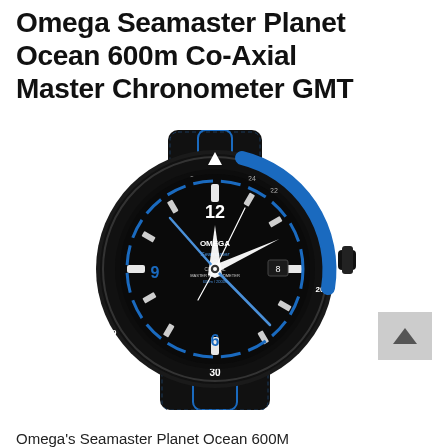Omega Seamaster Planet Ocean 600m Co-Axial Master Chronometer GMT
[Figure (photo): Omega Seamaster Planet Ocean 600m Co-Axial Master Chronometer GMT watch with black ceramic case, black and blue rubber strap with textile texture, black dial with blue accents, luminous hands, and blue GMT bezel insert.]
Omega's Seamaster Planet Ocean 600M